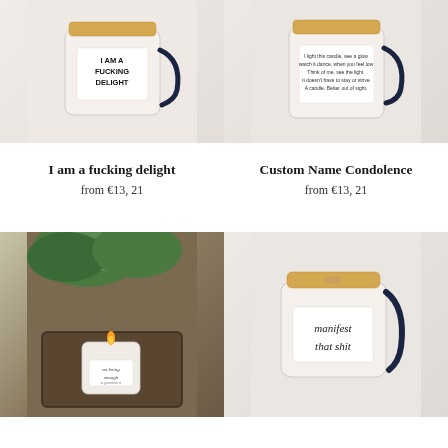[Figure (photo): White candle jar with label reading 'I AM A FUCKING DELIGHT' with dark navy ribbon/handle, on white fabric background]
[Figure (photo): White candle jar with custom name condolence text label, dark navy ribbon/handle, on white fabric background]
I am a fucking delight
from €13, 21
Custom Name Condolence
from €13, 21
[Figure (photo): Small lit candle jar on a dark wooden tray with green tropical leaves in background]
[Figure (photo): White candle jar with label reading 'manifest that shit' in handwriting font, dark navy ribbon/handle, on white fabric background]